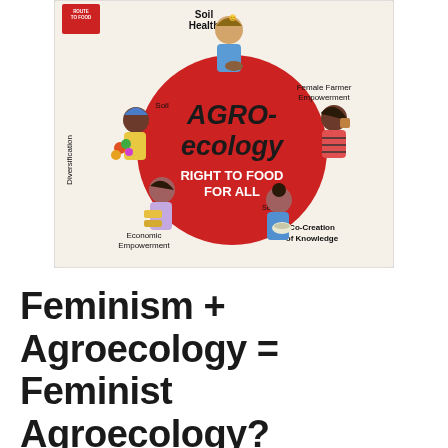[Figure (illustration): Colorful illustrated infographic showing diverse women farmers arranged around a large red circle. The circle reads 'AGRO-ecology RIGHT TO FOOD FOR ALL'. Labels around the illustration include: Soil Health (top), Female Farmer Empowerment (right), Co-Creation of Knowledge (bottom right), Seeds, Economic Empowerment (bottom left), Diversification (left), Soil. A 'Route to Food' logo appears in the top left corner. Characters depicted include women of different ethnicities holding vegetables, bread/food items, and bowls.]
Feminism + Agroecology = Feminist Agroecology?